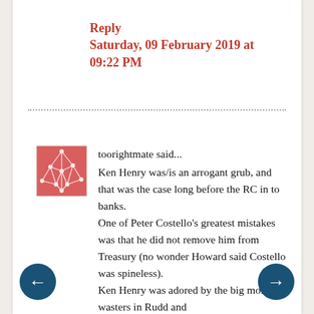Reply
Saturday, 09 February 2019 at 09:22 PM
[Figure (illustration): Red and white abstract network/web avatar icon for user toorightmate]
toorightmate said...
Ken Henry was/is an arrogant grub, and that was the case long before the RC in to banks.
One of Peter Costello's greatest mistakes was that he did not remove him from Treasury (no wonder Howard said Costello was spineless).
Ken Henry was adored by the big money-wasters in Rudd and